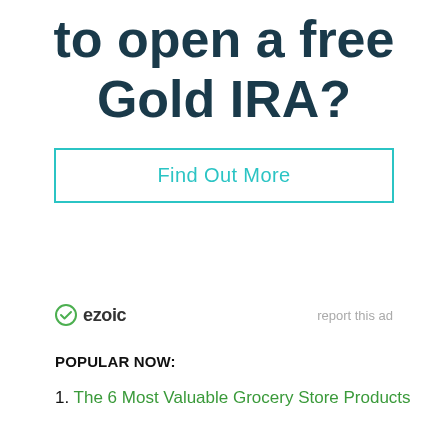to open a free Gold IRA?
Find Out More
[Figure (logo): Ezoic logo with green shield checkmark icon and bold 'ezoic' text]
report this ad
POPULAR NOW:
1. The 6 Most Valuable Grocery Store Products